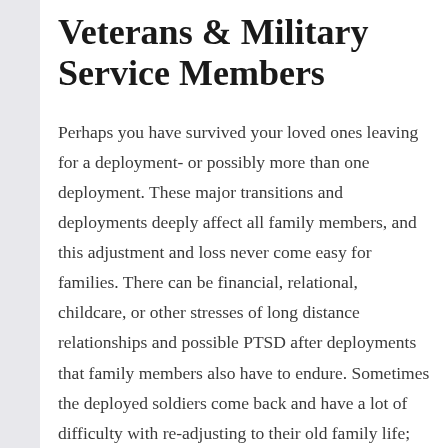Veterans & Military Service Members
Perhaps you have survived your loved ones leaving for a deployment- or possibly more than one deployment. These major transitions and deployments deeply affect all family members, and this adjustment and loss never come easy for families. There can be financial, relational, childcare, or other stresses of long distance relationships and possible PTSD after deployments that family members also have to endure. Sometimes the deployed soldiers come back and have a lot of difficulty with re-adjusting to their old family life; and vice versa. While the soldier was gone, the family still had to survive and created the necessary community and means to do so. When deployed